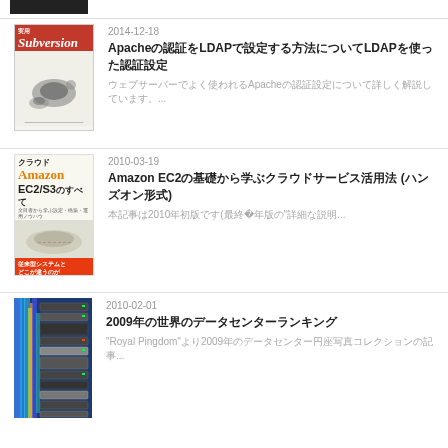[Figure (photo): Partial book/image at top, cropped]
2014-12-18 | ApachのLDAP認証設定方法についてLDAPを使った認証設定 | 本記事ではApacheのLDAP認証設定について詳しく解説しています...
2010-03-19 | Amazon EC2の基礎から学ぶクラウドサービス活用法 (ハンズオン形式) | 本記事は2010年初版です(最終更新2010年版の"詳細...
2010-02-01 | 2009年に見たサーバーラックの写真 | "Royal Pingdom"より2009年のデータセンター写真コレクション...